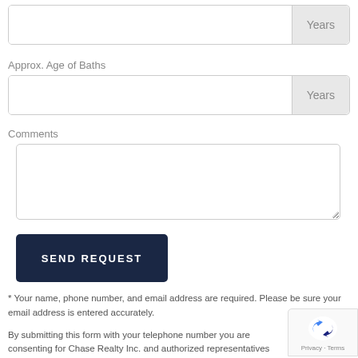[Figure (screenshot): Input field with 'Years' button on the right]
Approx. Age of Baths
[Figure (screenshot): Input field with 'Years' button on the right]
Comments
[Figure (screenshot): Multi-line textarea for comments]
[Figure (screenshot): SEND REQUEST button]
* Your name, phone number, and email address are required. Please be sure your email address is entered accurately.
By submitting this form with your telephone number you are consenting for Chase Realty Inc. and authorized representatives